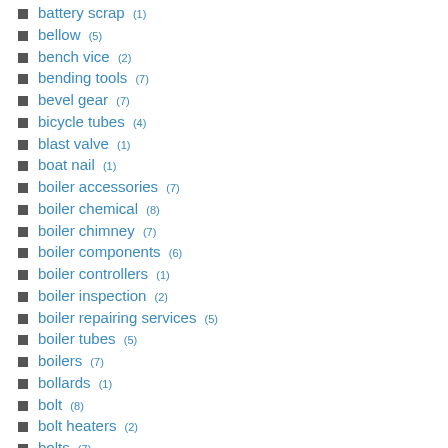battery scrap (1)
bellow (5)
bench vice (2)
bending tools (7)
bevel gear (7)
bicycle tubes (4)
blast valve (1)
boat nail (1)
boiler accessories (7)
boiler chemical (8)
boiler chimney (7)
boiler components (6)
boiler controllers (1)
boiler inspection (2)
boiler repairing services (5)
boiler tubes (5)
boilers (7)
bollards (1)
bolt (8)
bolt heaters (2)
bolts (7)
boot bellow (2)
borewell submersible pump (2)